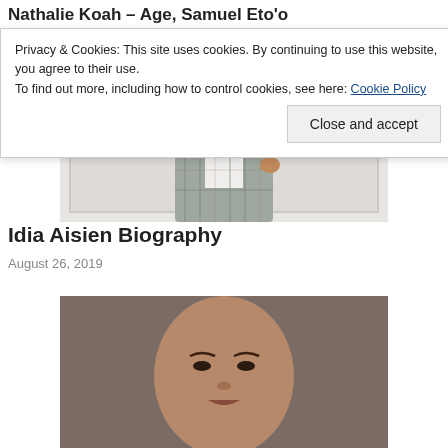Nathalie Koah – Age, Samuel Eto'o
Privacy & Cookies: This site uses cookies. By continuing to use this website, you agree to their use.
To find out more, including how to control cookies, see here: Cookie Policy
Close and accept
[Figure (photo): Woman in a grey plaid blazer and matching trousers standing in front of a white paneled door, with her hand raised to her hair.]
Idia Aisien Biography
August 26, 2019
[Figure (photo): Partially visible portrait photo at bottom of page.]